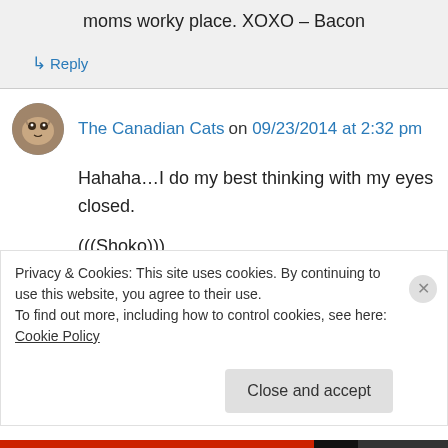moms worky place. XOXO – Bacon
↳ Reply
The Canadian Cats on 09/23/2014 at 2:32 pm
Hahaha…I do my best thinking with my eyes closed.

(((Shoko)))
↳ Reply
Privacy & Cookies: This site uses cookies. By continuing to use this website, you agree to their use.
To find out more, including how to control cookies, see here: Cookie Policy
Close and accept